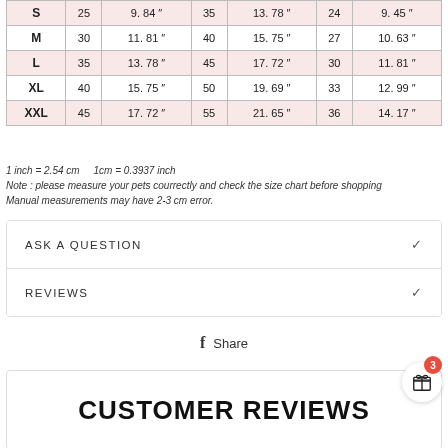| S | 25 | 9.84 " | 35 | 13.78 " | 24 | 9.45 " |
| M | 30 | 11.81 " | 40 | 15.75 " | 27 | 10.63 " |
| L | 35 | 13.78 " | 45 | 17.72 " | 30 | 11.81 " |
| XL | 40 | 15.75 " | 50 | 19.69 " | 33 | 12.99 " |
| XXL | 45 | 17.72 " | 55 | 21.65 " | 36 | 14.17 " |
1 inch = 2.54 cm    1cm = 0.3937 inch
Note : please measure your pets courrectly and check the size chart before shopping
Manual measurements may have 2-3 cm error.
ASK A QUESTION
REVIEWS
Share
CUSTOMER REVIEWS